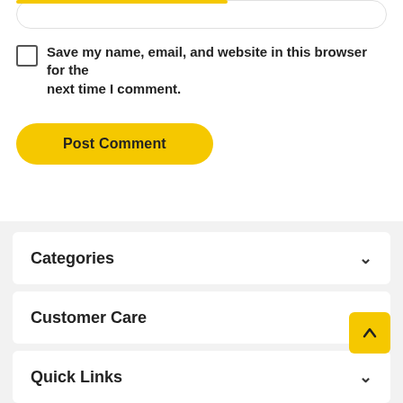Save my name, email, and website in this browser for the next time I comment.
Post Comment
Categories
Customer Care
Quick Links